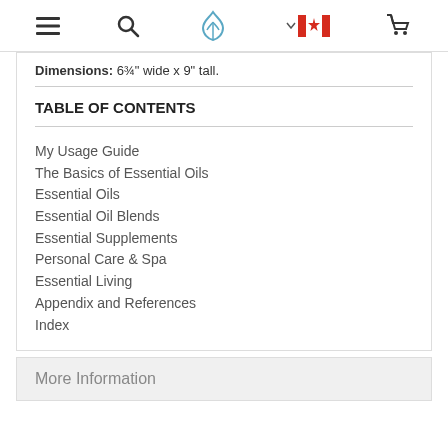Navigation bar with menu, search, logo, Canada flag, and cart icons
Dimensions: 6¾" wide x 9" tall.
TABLE OF CONTENTS
My Usage Guide
The Basics of Essential Oils
Essential Oils
Essential Oil Blends
Essential Supplements
Personal Care & Spa
Essential Living
Appendix and References
Index
More Information